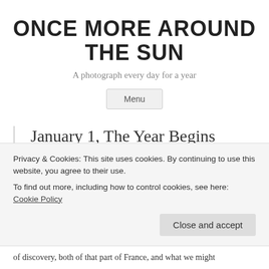ONCE MORE AROUND THE SUN
A photograph every day for a year
Menu
January 1, The Year Begins
1 Reply
Privacy & Cookies: This site uses cookies. By continuing to use this website, you agree to their use.
To find out more, including how to control cookies, see here: Cookie Policy
Close and accept
of discovery, both of that part of France, and what we might